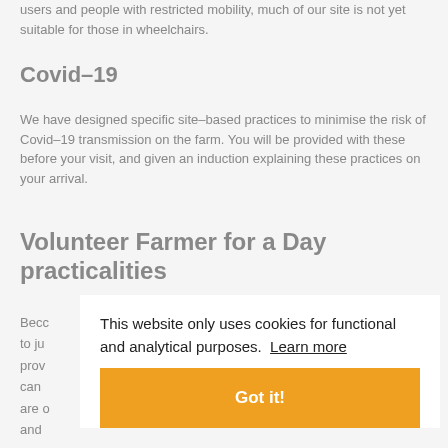users and people with restricted mobility, much of our site is not yet suitable for those in wheelchairs.
Covid-19
We have designed specific site-based practices to minimise the risk of Covid-19 transmission on the farm. You will be provided with these before your visit, and given an induction explaining these practices on your arrival.
Volunteer Farmer for a Day practicalities
Beco
to ju
prov
can
are o
and
supe
supe
This website only uses cookies for functional and analytical purposes.  Learn more
Got it!